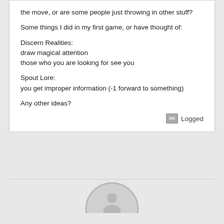the move, or are some people just throwing in other stuff?
Some things I did in my first game, or have thought of:
Discern Realities:
draw magical attention
those who you are looking for see you
Spout Lore:
you get improper information (-1 forward to something)
Any other ideas?
Logged
[Figure (logo): Grey circular logo with stylized figure, partially visible at bottom of page]